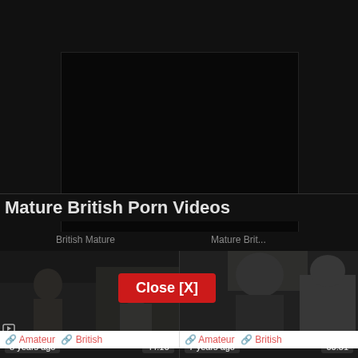[Figure (screenshot): Dark video player modal overlay on a dark background, showing a nearly black video frame.]
Mature British Porn Videos
8 years ago  44:16  7 years ago  00:51
Close [X]
🔗 Amateur 🔗 British   🔗 Amateur 🔗 British